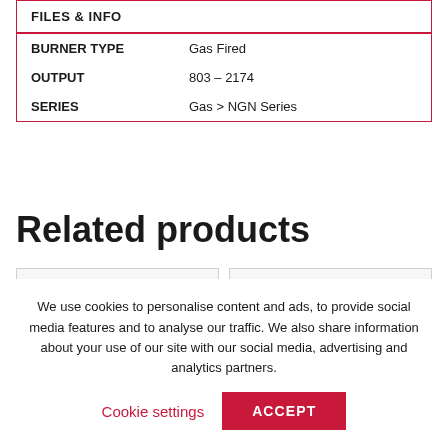| FILES & INFO |  |
| --- | --- |
| BURNER TYPE | Gas Fired |
| OUTPUT | 803 – 2174 |
| SERIES | Gas > NGN Series |
Related products
We use cookies to personalise content and ads, to provide social media features and to analyse our traffic. We also share information about your use of our site with our social media, advertising and analytics partners.
Cookie settings
ACCEPT